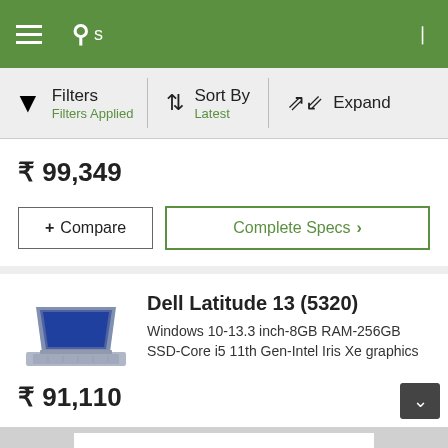Navigation bar with hamburger menu, search icon, S text
Filters | Filters Applied | Sort By | Latest | Expand
₹ 99,349
+ Compare
Complete Specs ›
Dell Latitude 13 (5320)
Windows 10-13.3 inch-8GB RAM-256GB SSD-Core i5 11th Gen-Intel Iris Xe graphics
₹ 91,110